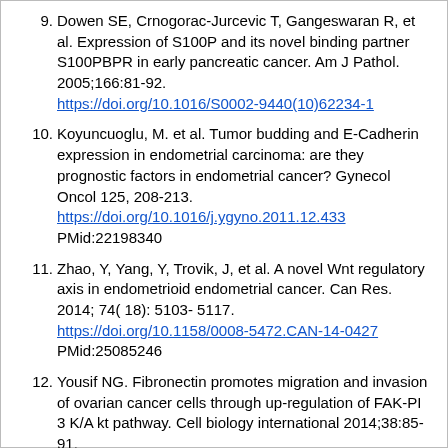Dowen SE, Crnogorac-Jurcevic T, Gangeswaran R, et al. Expression of S100P and its novel binding partner S100PBPR in early pancreatic cancer. Am J Pathol. 2005;166:81-92. https://doi.org/10.1016/S0002-9440(10)62234-1
Koyuncuoglu, M. et al. Tumor budding and E-Cadherin expression in endometrial carcinoma: are they prognostic factors in endometrial cancer? Gynecol Oncol 125, 208-213. https://doi.org/10.1016/j.ygyno.2011.12.433 PMid:22198340
Zhao, Y, Yang, Y, Trovik, J, et al. A novel Wnt regulatory axis in endometrioid endometrial cancer. Can Res. 2014; 74( 18): 5103- 5117. https://doi.org/10.1158/0008-5472.CAN-14-0427 PMid:25085246
Yousif NG. Fibronectin promotes migration and invasion of ovarian cancer cells through up-regulation of FAK-PI 3 K/A kt pathway. Cell biology international 2014;38:85-91. https://doi.org/10.1002/cbin.10184 PMid:24115647